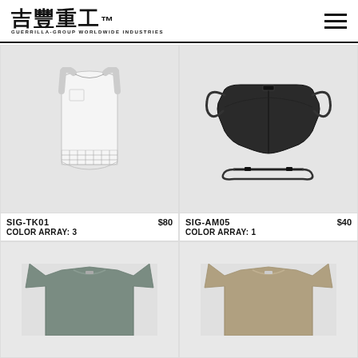吉豐重工 GUERRILLA-GROUP WORLDWIDE INDUSTRIES
[Figure (photo): White sleeveless tank top with grid pattern at hem]
SIG-TK01  $80
COLOR ARRAY: 3
[Figure (photo): Black face mask with adjustable cord lanyard]
SIG-AM05  $40
COLOR ARRAY: 1
[Figure (photo): Green/grey oversized t-shirt, partially visible]
[Figure (photo): Tan/khaki oversized t-shirt, partially visible]